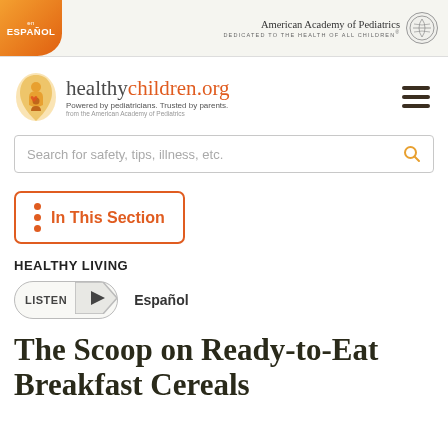en ESPAÑOL | American Academy of Pediatrics DEDICATED TO THE HEALTH OF ALL CHILDREN®
[Figure (logo): healthychildren.org logo with icon. Powered by pediatricians. Trusted by parents. from the American Academy of Pediatrics]
Search for safety, tips, illness, etc.
In This Section
HEALTHY LIVING
LISTEN   Español
The Scoop on Ready-to-Eat Breakfast Cereals